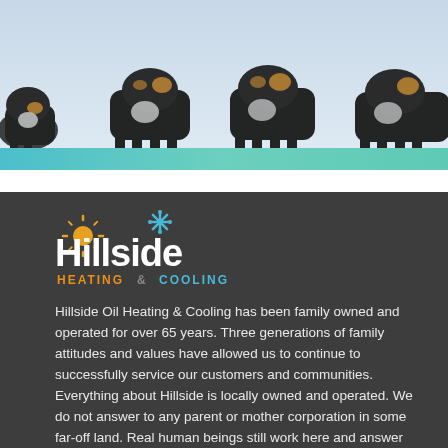[Figure (photo): Puppies (Bernese mountain dog puppies) walking from left to right against a light blue/white background]
[Figure (logo): Hillside Heating & Cooling logo — white text 'Hillside' with orange sun icon and blue snowflake icon, orange 'HEATING' and teal 'COOLING' below]
Hillside Oil Heating & Cooling has been family owned and operated for over 65 years. Three generations of family attitudes and values have allowed us to continue to successfully service our customers and communities. Everything about Hillside is locally owned and operated. We do not answer to any parent or mother corporation in some far-off land. Real human beings still work here and answer our phones. We have no touch-tone mazes to navigate in order to speak to a human being that can assist